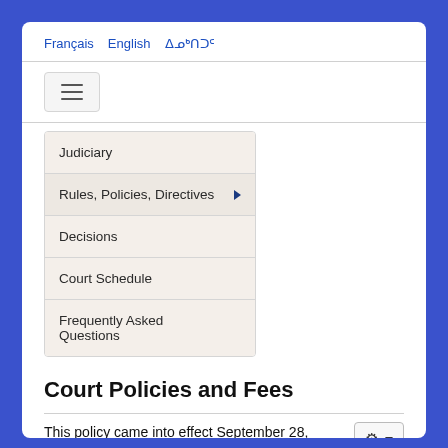Français  English  ᐃᓄᒃᑎᑐᑦ
Judiciary
Rules, Policies, Directives ▶
Decisions
Court Schedule
Frequently Asked Questions
Court Policies and Fees
This policy came into effect September 28, 2021.